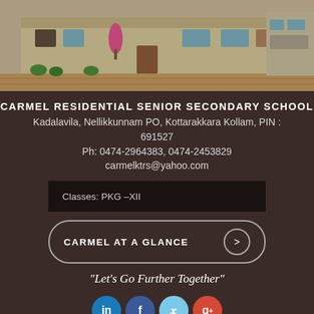[Figure (photo): Exterior photo of Carmel Residential Senior Secondary School building — a two-story cream/yellow building with plants and a paved courtyard]
CARMEL RESIDENTIAL SENIOR SECONDARY SCHOOL
Kadalavila, Nellikkunnam PO, Kottarakkara Kollam, PIN : 691527
Ph: 0474-2964383, 0474-2453829
carmelktrs@yahoo.com
Classes: PKG –XII
CARMEL AT A GLANCE
"Let's Go Further Together"
Copyright© 2020 Carmel Residential Senior